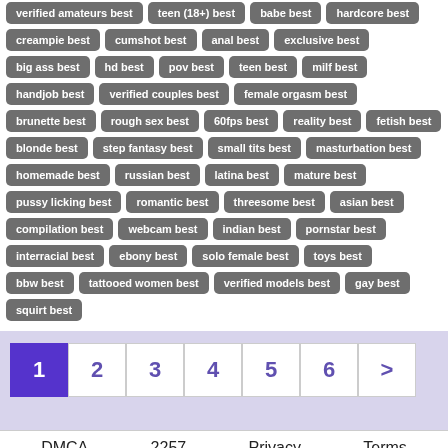verified amateurs best
teen (18+) best
babe best
hardcore best
creampie best
cumshot best
anal best
exclusive best
big ass best
hd best
pov best
teen best
milf best
handjob best
verified couples best
female orgasm best
brunette best
rough sex best
60fps best
reality best
fetish best
blonde best
step fantasy best
small tits best
masturbation best
homemade best
russian best
latina best
mature best
pussy licking best
romantic best
threesome best
asian best
compilation best
webcam best
indian best
pornstar best
interracial best
ebony best
solo female best
toys best
bbw best
tattooed women best
verified models best
gay best
squirt best
1 2 3 4 5 6 >
DMCA  2257  Privacy  Terms